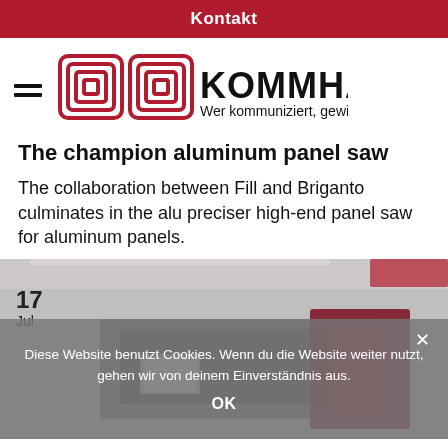Kontakt
[Figure (logo): Kommhaus logo with two square spiral icons and text KOMMHAUS, Wer kommuniziert, gewinnt.]
The champion aluminum panel saw
The collaboration between Fill and Briganto culminates in the alu preciser high-end panel saw for aluminum panels.
[Figure (photo): Industrial panel saw machine in a factory setting, partially visible. Date badge showing 17 Jul in top-left corner.]
Diese Website benutzt Cookies. Wenn du die Website weiter nutzt, gehen wir von deinem Einverständnis aus. OK